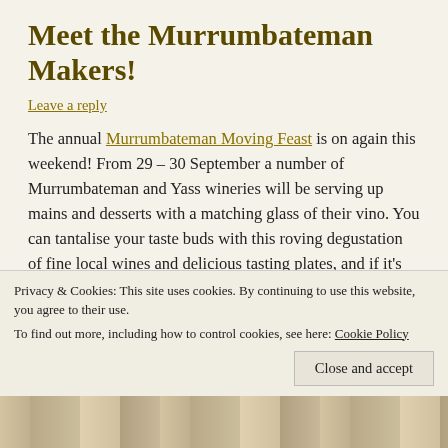Meet the Murrumbateman Makers!
Leave a reply
The annual Murrumbateman Moving Feast is on again this weekend! From 29 – 30 September a number of Murrumbateman and Yass wineries will be serving up mains and desserts with a matching glass of their vino. You can tantalise your taste buds with this roving degustation of fine local wines and delicious tasting plates, and if it's anything like last year, it will be fantastic—and crowded, so book now! Here's a sample of what you can expect.
Privacy & Cookies: This site uses cookies. By continuing to use this website, you agree to their use. To find out more, including how to control cookies, see here: Cookie Policy
[Figure (photo): Bottom strip showing food/dishes photograph, partially visible]